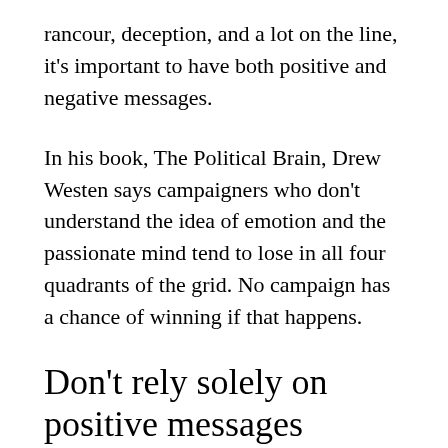rancour, deception, and a lot on the line, it's important to have both positive and negative messages.
In his book, The Political Brain, Drew Westen says campaigners who don't understand the idea of emotion and the passionate mind tend to lose in all four quadrants of the grid. No campaign has a chance of winning if that happens.
Don't rely solely on positive messages